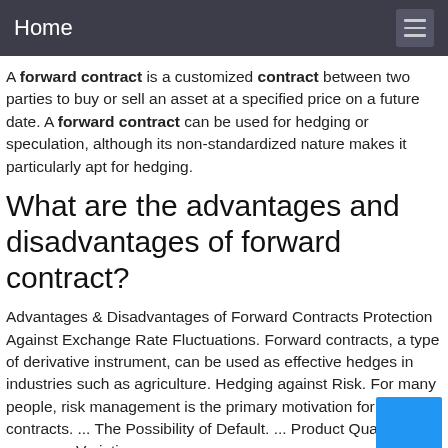Home
A forward contract is a customized contract between two parties to buy or sell an asset at a specified price on a future date. A forward contract can be used for hedging or speculation, although its non-standardized nature makes it particularly apt for hedging.
What are the advantages and disadvantages of forward contract?
Advantages & Disadvantages of Forward Contracts Protection Against Exchange Rate Fluctuations. Forward contracts, a type of derivative instrument, can be used as effective hedges in industries such as agriculture. Hedging against Risk. For many people, risk management is the primary motivation for forward contracts. ... The Possibility of Default. ... Product Quality Variations. ...